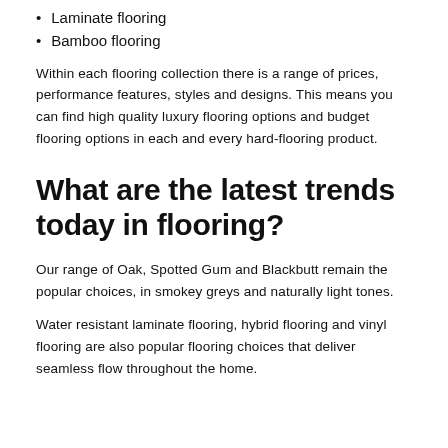Laminate flooring
Bamboo flooring
Within each flooring collection there is a range of prices, performance features, styles and designs. This means you can find high quality luxury flooring options and budget flooring options in each and every hard-flooring product.
What are the latest trends today in flooring?
Our range of Oak, Spotted Gum and Blackbutt remain the popular choices, in smokey greys and naturally light tones.
Water resistant laminate flooring, hybrid flooring and vinyl flooring are also popular flooring choices that deliver seamless flow throughout the home.